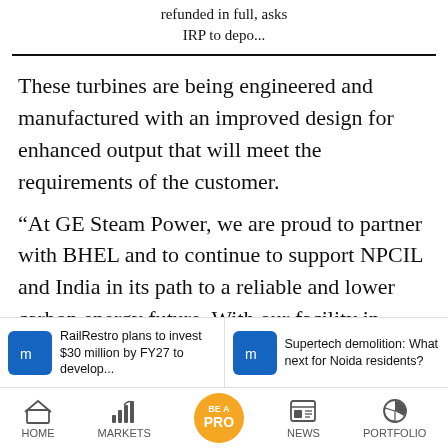refunded in full, asks IRP to depo...
These turbines are being engineered and manufactured with an improved design for enhanced output that will meet the requirements of the customer.
“At GE Steam Power, we are proud to partner with BHEL and to continue to support NPCIL and India in its path to a reliable and lower carbon energy future. With our facility in Sanand, we have local manufacturing capability
RailRestro plans to invest $30 million by FY27 to develop...
Supertech demolition: What next for Noida residents?
HOME  MARKETS  BE A PRO  NEWS  PORTFOLIO